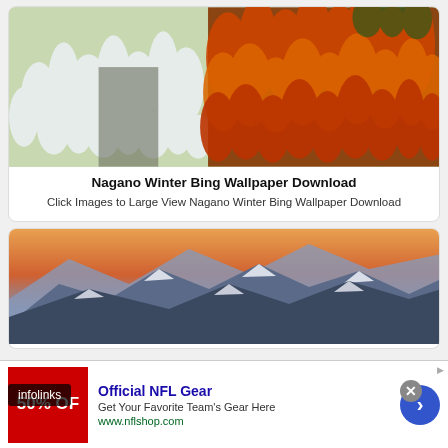[Figure (photo): Aerial view of snow-covered white trees on the left and orange/red autumn foliage on the right, mountain forest landscape]
Nagano Winter Bing Wallpaper Download
Click Images to Large View Nagano Winter Bing Wallpaper Download
[Figure (photo): Snow-capped mountain range at dusk with orange/pink sky, blue snowy peaks in the foreground]
[Figure (screenshot): Infolinks ad bar overlay with close button]
[Figure (infographic): Advertisement: Official NFL Gear - 50% OFF - Get Your Favorite Team's Gear Here - www.nflshop.com with red sale image and blue arrow button]